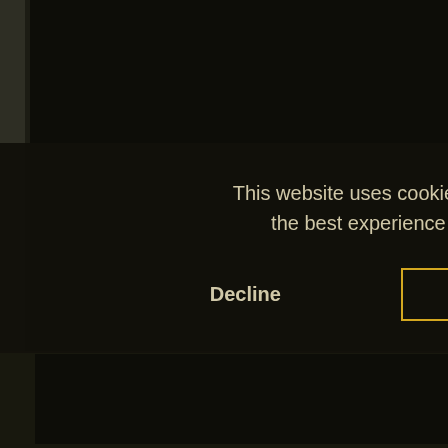[Figure (screenshot): Magic: The Gathering card browsing website screenshot showing card thumbnails in a right sidebar with Island cards displayed. A cookie consent banner overlays the bottom portion of the page with 'Decline' and 'Allow cookies' buttons.]
This website uses cookies to ensure you get the best experience on our website.
Decline
Allow cookies
Isl
Sp
Isla
Inn
La
Isla
Do
La
Isla
Tim
La
Isla
Wo
Sn